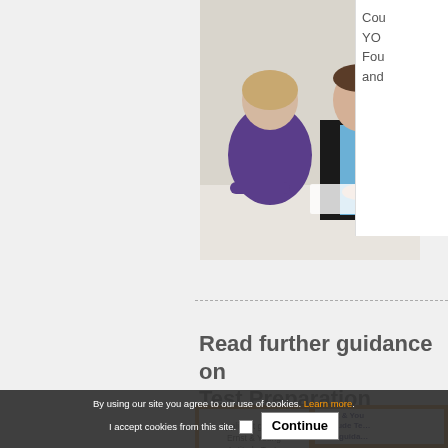[Figure (photo): Two people in a job interview setting — a man in a suit and a woman with her back to the camera, sitting across from each other at a table]
Cou YO Fou and
Read further guidance on Test Preparation
[Figure (illustration): Book advertisement for 'Applicant guide to Ernst & Young Aptitude Tests 2022 edition' on orange background with bullet points about EY aptitude tests, aptitude tests practice and marking schemes, and guidance provided. One Chance, One Choice tagline.]
By using our site you agree to our use of cookies. Learn more. I accept cookies from this site. Continue